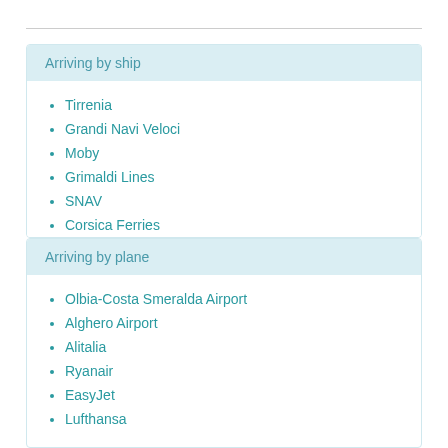Arriving by ship
Tirrenia
Grandi Navi Veloci
Moby
Grimaldi Lines
SNAV
Corsica Ferries
Arriving by plane
Olbia-Costa Smeralda Airport
Alghero Airport
Alitalia
Ryanair
EasyJet
Lufthansa